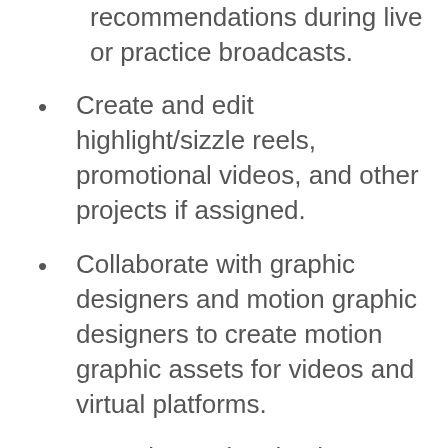recommendations during live or practice broadcasts.
Create and edit highlight/sizzle reels, promotional videos, and other projects if assigned.
Collaborate with graphic designers and motion graphic designers to create motion graphic assets for videos and virtual platforms.
Organize and maintain multiple physical and cloud drives.
Research potential partnerships/collaborations for